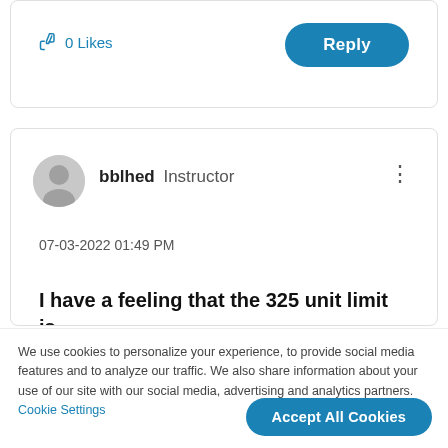[Figure (screenshot): Top card showing 0 Likes with thumbs up icon and Reply button]
0 Likes
Reply
[Figure (screenshot): Post card showing bblhed Instructor user with avatar, date 07-03-2022 01:49 PM, and partial post text]
bblhed  Instructor
07-03-2022 01:49 PM
I have a feeling that the 325 unit limit is going to keep a lot of buyers out of the
We use cookies to personalize your experience, to provide social media features and to analyze our traffic. We also share information about your use of our site with our social media, advertising and analytics partners. Cookie Settings
Accept All Cookies